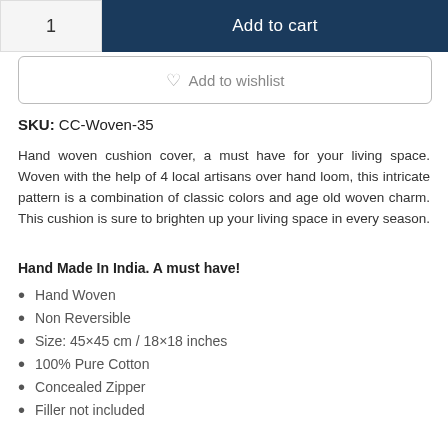[Figure (other): Add to cart button area with quantity selector showing '1' and a dark navy blue 'Add to cart' button]
[Figure (other): Add to wishlist button with heart icon, outlined border]
SKU: CC-Woven-35
Hand woven cushion cover, a must have for your living space. Woven with the help of 4 local artisans over hand loom, this intricate pattern is a combination of classic colors and age old woven charm. This cushion is sure to brighten up your living space in every season.
Hand Made In India. A must have!
Hand Woven
Non Reversible
Size: 45×45 cm / 18×18 inches
100% Pure Cotton
Concealed Zipper
Filler not included